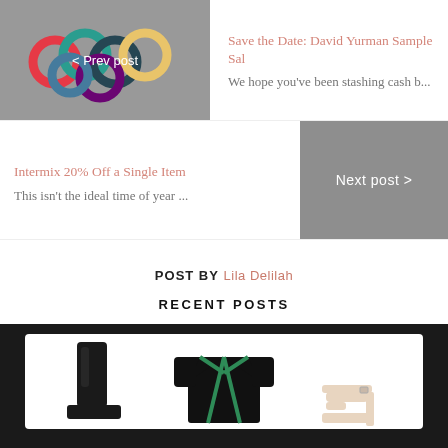[Figure (photo): Previous post thumbnail showing colorful ring-shaped jewelry on a gray background with '< Prev post' overlay text]
Save the Date: David Yurman Sample Sal
We hope you've been stashing cash b...
Intermix 20% Off a Single Item
This isn't the ideal time of year ...
Next post >
POST BY Lila Delilah
RECENT POSTS
[Figure (photo): Three fashion product images on white card: tall black leather boots, black cardigan with green trim, and white strappy heeled sandals]